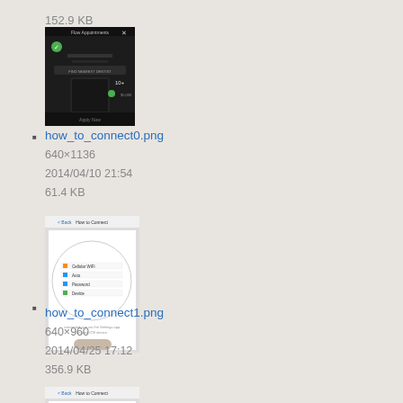152.9 KB
[Figure (screenshot): Thumbnail of how_to_connect0.png, a dark-themed mobile app screenshot]
how_to_connect0.png
640×1136
2014/04/10 21:54
61.4 KB
[Figure (screenshot): Thumbnail of how_to_connect1.png, a mobile app screenshot showing a settings/connection screen with a magnified menu]
how_to_connect1.png
640×960
2014/04/25 17:12
356.9 KB
[Figure (screenshot): Partial thumbnail of a third mobile app screenshot, cropped at bottom of page]